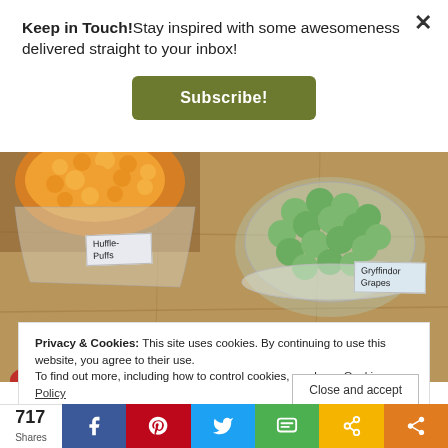Keep in Touch!Stay inspired with some awesomeness delivered straight to your inbox!
Subscribe!
[Figure (photo): Photo of a table with Harry Potter themed snacks: a bag of orange cheese puffs labeled 'Huffle-Puffs' and a glass bowl of green grapes labeled 'Gryffindor Grapes' on a brown paper tablecloth.]
Privacy & Cookies: This site uses cookies. By continuing to use this website, you agree to their use.
To find out more, including how to control cookies, see here: Cookie Policy
Close and accept
717
Shares